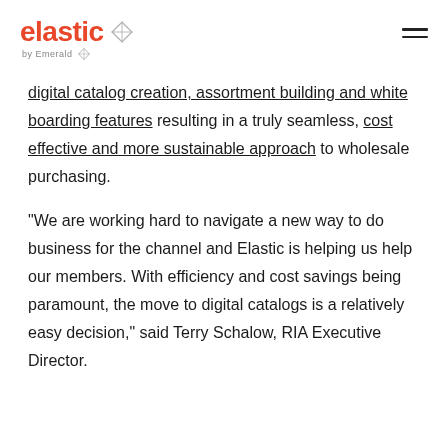elastic by Emerald
digital catalog creation, assortment building and white boarding features resulting in a truly seamless, cost effective and more sustainable approach to wholesale purchasing.
“We are working hard to navigate a new way to do business for the channel and Elastic is helping us help our members. With efficiency and cost savings being paramount, the move to digital catalogs is a relatively easy decision,” said Terry Schalow, RIA Executive Director.